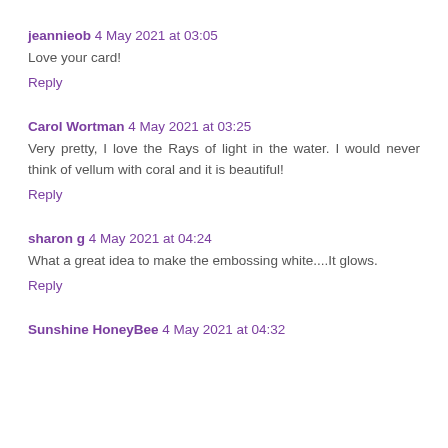jeannieob 4 May 2021 at 03:05
Love your card!
Reply
Carol Wortman 4 May 2021 at 03:25
Very pretty, I love the Rays of light in the water. I would never think of vellum with coral and it is beautiful!
Reply
sharon g 4 May 2021 at 04:24
What a great idea to make the embossing white....It glows.
Reply
Sunshine HoneyBee 4 May 2021 at 04:32